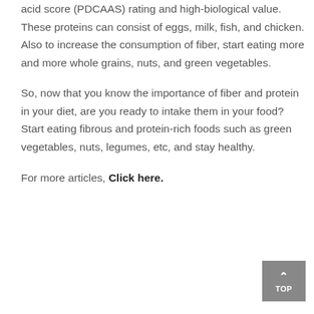acid score (PDCAAS) rating and high-biological value. These proteins can consist of eggs, milk, fish, and chicken. Also to increase the consumption of fiber, start eating more and more whole grains, nuts, and green vegetables.
So, now that you know the importance of fiber and protein in your diet, are you ready to intake them in your food? Start eating fibrous and protein-rich foods such as green vegetables, nuts, legumes, etc, and stay healthy.
For more articles, Click here.